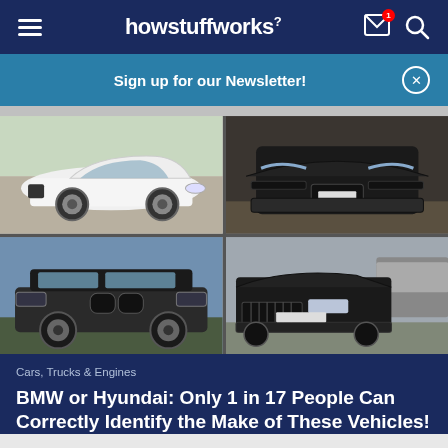howstuffworks
Sign up for our Newsletter!
[Figure (photo): Four car photos in a 2x2 grid: top-left white BMW coupe, top-right black sports car front view, bottom-left dark SUV (BMW X7 style), bottom-right black luxury sedan]
Cars, Trucks & Engines
BMW or Hyundai: Only 1 in 17 People Can Correctly Identify the Make of These Vehicles!